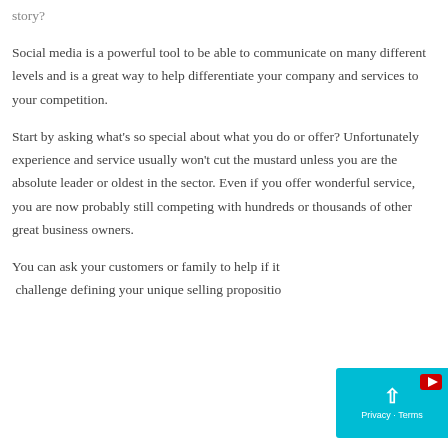story?
Social media is a powerful tool to be able to communicate on many different levels and is a great way to help differentiate your company and services to your competition.
Start by asking what’s so special about what you do or offer? Unfortunately experience and service usually won’t cut the mustard unless you are the absolute leader or oldest in the sector. Even if you offer wonderful service, you are now probably still competing with hundreds or thousands of other great business owners.
You can ask your customers or family to help if it’s a challenge defining your unique selling propositio…